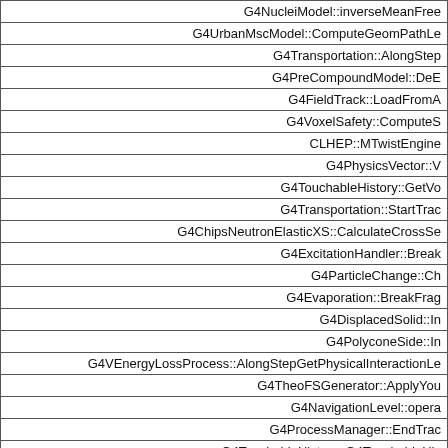| G4NucleiModel::inverseMeanFree |
| G4UrbanMscModel::ComputeGeomPathLe |
| G4Transportation::AlongStep |
| G4PreCompoundModel::DeE |
| G4FieldTrack::LoadFromA |
| G4VoxelSafety::ComputeS |
| CLHEP::MTwistEngine |
| G4PhysicsVector::V |
| G4TouchableHistory::GetVo |
| G4Transportation::StartTrac |
| G4ChipsNeutronElasticXS::CalculateCrossSe |
| G4ExcitationHandler::Break |
| G4ParticleChange::Ch |
| G4Evaporation::BreakFrag |
| G4DisplacedSolid::In |
| G4PolyconeSide::In |
| G4VEnergyLossProcess::AlongStepGetPhysicalInteractionLe |
| G4TheoFSGenerator::ApplyYou |
| G4NavigationLevel::opera |
| G4ProcessManager::EndTrac |
| G4TouchableHistory::G4TouchableHis |
| G4CascadeRecoilMaker::co |
| G4SauterGavrilaAngularDistribution::SampleDire |
| G4GEMChanneluGetEmissionProbab |